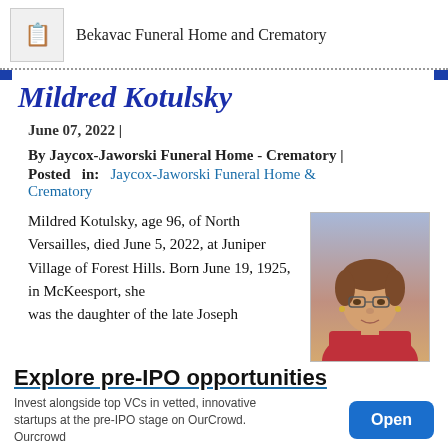Bekavac Funeral Home and Crematory
Mildred Kotulsky
June 07, 2022 |
By Jaycox-Jaworski Funeral Home - Crematory | Posted in: Jaycox-Jaworski Funeral Home & Crematory
Mildred Kotulsky, age 96, of North Versailles, died June 5, 2022, at Juniper Village of Forest Hills. Born June 19, 1925, in McKeesport, she was the daughter of the late Joseph
[Figure (photo): Portrait photo of Mildred Kotulsky, an elderly woman with short brown hair, glasses, wearing a pink/red jacket, against a blue-grey background]
Explore pre-IPO opportunities
Invest alongside top VCs in vetted, innovative startups at the pre-IPO stage on OurCrowd. Ourcrowd